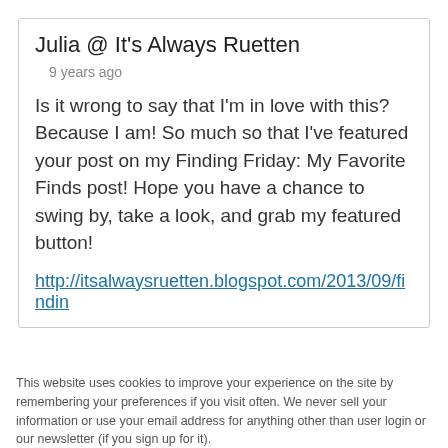Julia @ It's Always Ruetten
9 years ago
Is it wrong to say that I'm in love with this? Because I am! So much so that I've featured your post on my Finding Friday: My Favorite Finds post! Hope you have a chance to swing by, take a look, and grab my featured button!
http://itsalwaysruetten.blogspot.com/2013/09/findin
This website uses cookies to improve your experience on the site by remembering your preferences if you visit often. We never sell your information or use your email address for anything other than user login or our newsletter (if you sign up for it).
Accept  Manage your cookie settings  Learn More